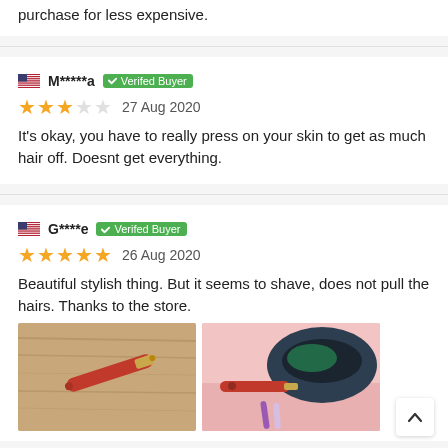purchase for less expensive.
M*****a  Verifed Buyer
★★★☆☆  27 Aug 2020
It's okay, you have to really press on your skin to get as much hair off. Doesnt get everything.
G****e  Verifed Buyer
★★★★★  26 Aug 2020
Beautiful stylish thing. But it seems to shave, does not pull the hairs. Thanks to the store.
[Figure (photo): Two product photos showing a red pen-like hair removal device on a wooden surface (left) and close-up with a dark object and accessories (right).]